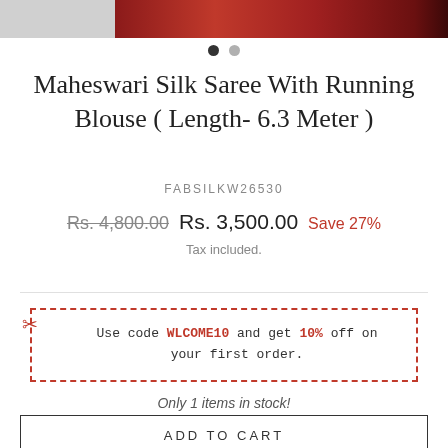[Figure (photo): Product image strip showing a Maheswari Silk Saree - gray area on left and red/maroon saree fabric on right]
Maheswari Silk Saree With Running Blouse ( Length- 6.3 Meter )
FABSILKW26530
Rs. 4,800.00  Rs. 3,500.00  Save 27%
Tax included.
Use code WLCOME10 and get 10% off on your first order.
Only 1 items in stock!
ADD TO CART